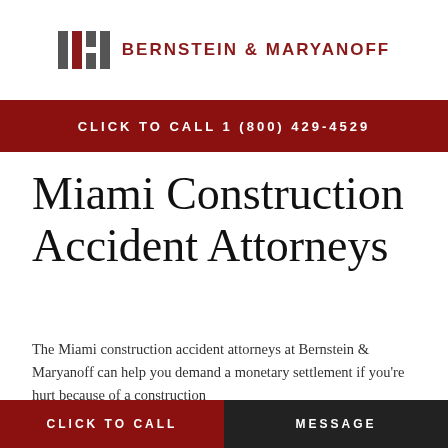[Figure (logo): Bernstein & Maryanoff law firm logo with stylized B&M icon in dark red/grey and firm name in dark red uppercase text]
CLICK TO CALL 1 (800) 429-4529
Miami Construction Accident Attorneys
The Miami construction accident attorneys at Bernstein & Maryanoff can help you demand a monetary settlement if you're hurt because of a construction
CLICK TO CALL | MESSAGE